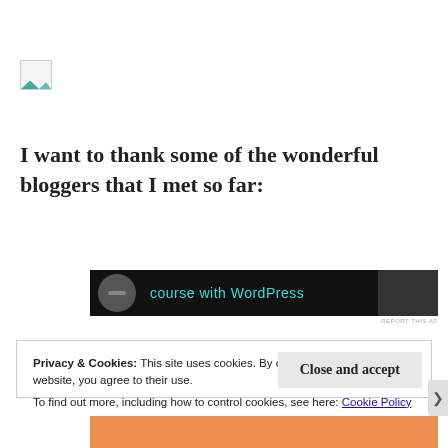[Figure (illustration): Broken/placeholder image icon in top-left corner]
I want to thank some of the wonderful bloggers that I met so far:
[Figure (screenshot): Advertisement banner showing 'course with WordPress' text on dark background with circular logo]
REPORT THIS AD
Privacy & Cookies: This site uses cookies. By continuing to use this website, you agree to their use.
To find out more, including how to control cookies, see here: Cookie Policy
Close and accept